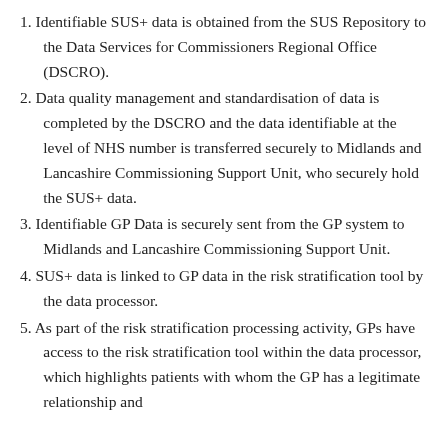1. Identifiable SUS+ data is obtained from the SUS Repository to the Data Services for Commissioners Regional Office (DSCRO).
2. Data quality management and standardisation of data is completed by the DSCRO and the data identifiable at the level of NHS number is transferred securely to Midlands and Lancashire Commissioning Support Unit, who securely hold the SUS+ data.
3. Identifiable GP Data is securely sent from the GP system to Midlands and Lancashire Commissioning Support Unit.
4. SUS+ data is linked to GP data in the risk stratification tool by the data processor.
5. As part of the risk stratification processing activity, GPs have access to the risk stratification tool within the data processor, which highlights patients with whom the GP has a legitimate relationship and